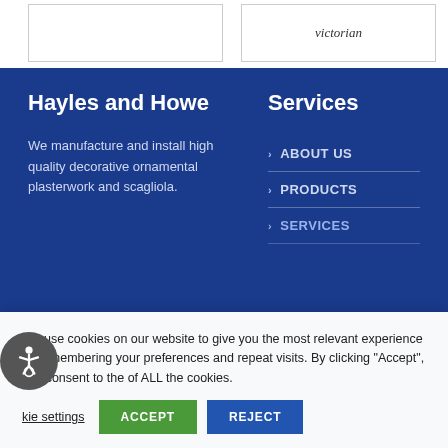victorian
Hayles and Howe
Services
We manufacture and install high quality decorative ornamental plasterwork and scagliola.
ABOUT US
PRODUCTS
SERVICES
We use cookies on our website to give you the most relevant experience by remembering your preferences and repeat visits. By clicking “Accept”, you consent to the of ALL the cookies.
Cookie settings   ACCEPT   REJECT